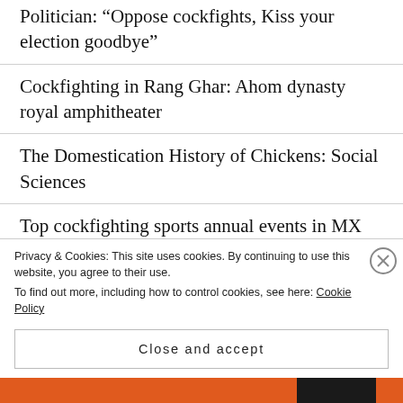Politician: “Oppose cockfights, Kiss your election goodbye”
Cockfighting in Rang Ghar: Ahom dynasty royal amphitheater
The Domestication History of Chickens: Social Sciences
Top cockfighting sports annual events in MX
Main of Cocks in a match between Norwich &…
Privacy & Cookies: This site uses cookies. By continuing to use this website, you agree to their use.
To find out more, including how to control cookies, see here: Cookie Policy
Close and accept